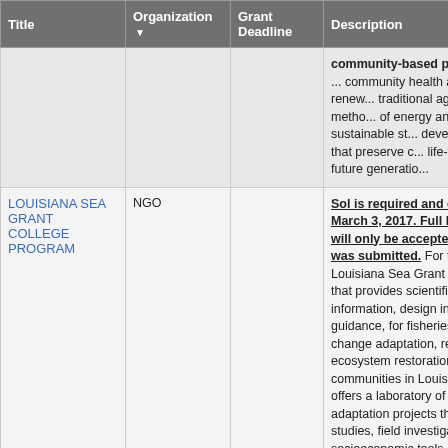| Title | Organization ▼ | Grant Deadline | Description |
| --- | --- | --- | --- |
|  |  |  | community-based projects ... community health and renew... traditional agricultural metho... of energy and sustainable st... development that preserve c... life-ways for future generatio... |
| LOUISIANA SEA GRANT COLLEGE PROGRAM | NGO |  | Sol is required and due by March 3, 2017. Full Propos... will only be accepted on M... was submitted. For this fun... Louisiana Sea Grant seeks r... that provides scientific and s... information, design innovatio... guidance, for fisheries mana... change adaptation, resilient... ecosystem restoration in coa... communities in Louisiana. C... offers a laboratory of restora... adaptation projects that toge... studies, field investigations,... socioeconomic tools and sy... offer innovative opportunitie... |